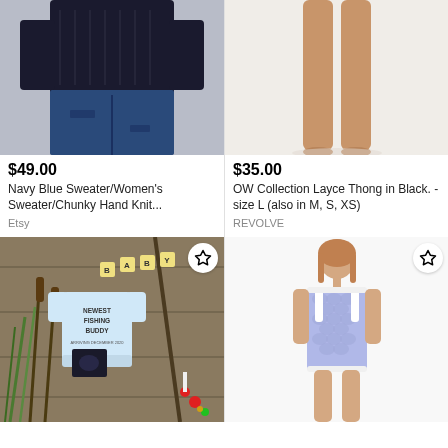[Figure (photo): Woman wearing navy blue chunky knit sweater with ripped jeans, cropped view of torso]
$49.00
Navy Blue Sweater/Women's Sweater/Chunky Hand Knit...
Etsy
[Figure (photo): Woman's legs model shot on white background wearing black thong underwear]
$35.00
OW Collection Layce Thong in Black. - size L (also in M, S, XS)
REVOLVE
[Figure (photo): Fishing-themed baby announcement onesie on wooden background with scrabble letters BABY, reading NEWEST FISHING BUDDY, with a sonogram photo]
[Figure (photo): Young girl wearing purple/lavender mermaid scale one-piece swimsuit with white trim]